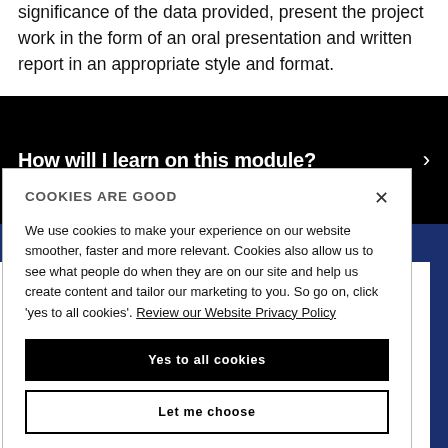significance of the data provided, present the project work in the form of an oral presentation and written report in an appropriate style and format.
How will I learn on this module?
COOKIES ARE GOOD
We use cookies to make your experience on our website smoother, faster and more relevant. Cookies also allow us to see what people do when they are on our site and help us create content and tailor our marketing to you. So go on, click 'yes to all cookies'. Review our Website Privacy Policy
Yes to all cookies
Let me choose